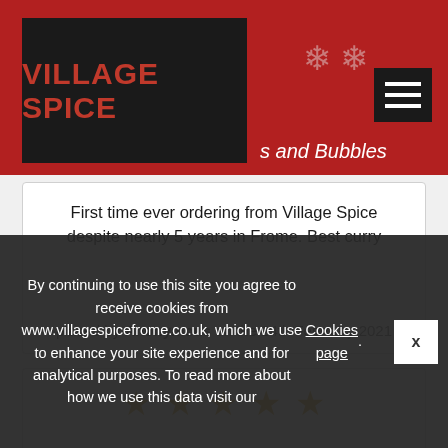[Figure (logo): Village Spice logo on dark background with red text, on a red header with snowflake decorations and hamburger menu button]
s and Bubbles
First time ever ordering from Village Spice despite nearly 5 years in Frome. Best curry
...read more
placed by Anonymous on the 24th February 2021
[Figure (other): Five gold stars rating]
By continuing to use this site you agree to receive cookies from www.villagespicefrome.co.uk, which we use to enhance your site experience and for analytical purposes. To read more about how we use this data visit our Cookies page.